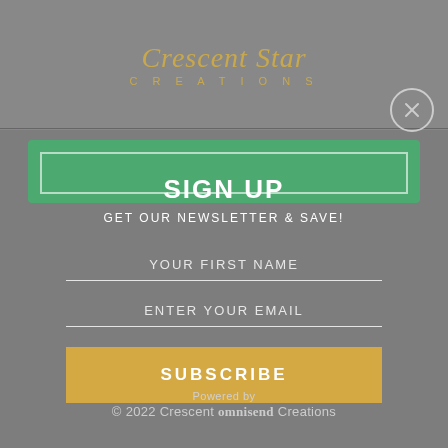[Figure (logo): Crescent Star Creations logo in gold script with 'CREATIONS' in spaced caps below]
SIGN UP
GET OUR NEWSLETTER & SAVE!
YOUR FIRST NAME
ENTER YOUR EMAIL
SUBSCRIBE
Powered by
© 2022 Crescent Star Creations